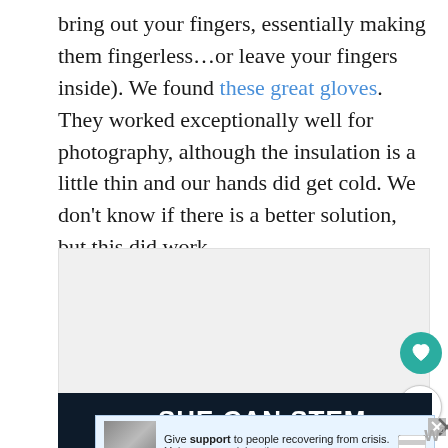bring out your fingers, essentially making them fingerless…or leave your fingers inside). We found these great gloves. They worked exceptionally well for photography, although the insulation is a little thin and our hands did get cold. We don't know if there is a better solution, but this did work.
[Figure (photo): Gray placeholder image area on white background]
[Figure (screenshot): Dark background advertisement banner with bold white text reading SHE CAN STEM, with a photo of a person on the left side and a small overlay ad saying Give support to people recovering from crisis. Make a year-end donation.]